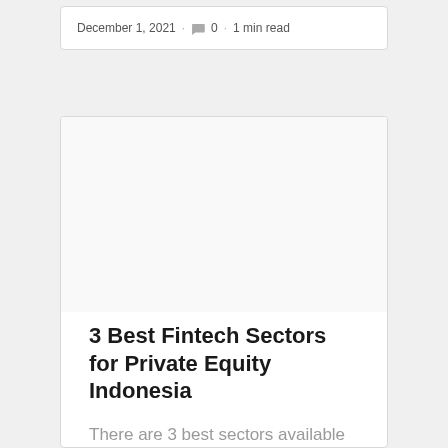December 1, 2021 · 0 · 1 min read
3 Best Fintech Sectors for Private Equity Indonesia
There are 3 best sectors available for private equity Indonesia. Take a glance about the best financial technology opportunities available here.